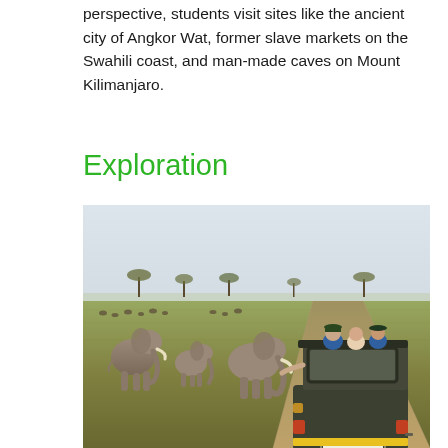perspective, students visit sites like the ancient city of Angkor Wat, former slave markets on the Swahili coast, and man-made caves on Mount Kilimanjaro.
Exploration
[Figure (photo): A safari jeep with the license plate T 873 AFW and Kiponi Safaris branding on the spare tire covers, with tourists poking their heads out the roof, driving past a group of elephants on the African savanna. Multiple elephants are visible grazing in the grasslands, with acacia trees on the horizon.]